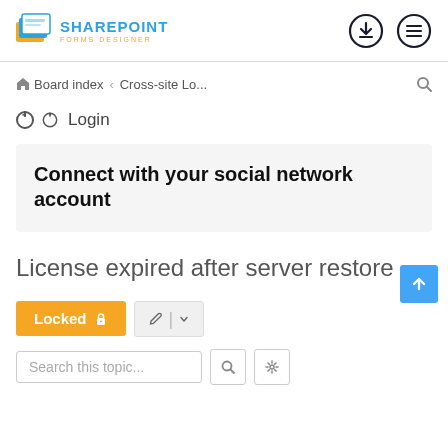[Figure (logo): SharePoint Forms Designer logo with orange/blue stacked file icon and text]
Board index ‹ Cross-site Lo...
⏻ Login
Connect with your social network account
License expired after server restore
Locked 🔒
Search this topic...